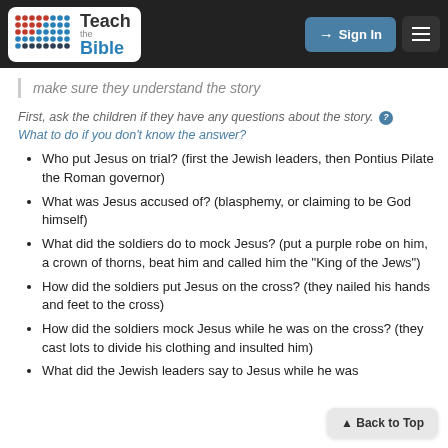Teach the Bible — Sign In
make sure they understand the story
First, ask the children if they have any questions about the story. ? What to do if you don't know the answer?
Who put Jesus on trial? (first the Jewish leaders, then Pontius Pilate the Roman governor)
What was Jesus accused of? (blasphemy, or claiming to be God himself)
What did the soldiers do to mock Jesus? (put a purple robe on him, a crown of thorns, beat him and called him the "King of the Jews")
How did the soldiers put Jesus on the cross? (they nailed his hands and feet to the cross)
How did the soldiers mock Jesus while he was on the cross? (they cast lots to divide his clothing and insulted him)
What did the Jewish leaders say to Jesus while he was…